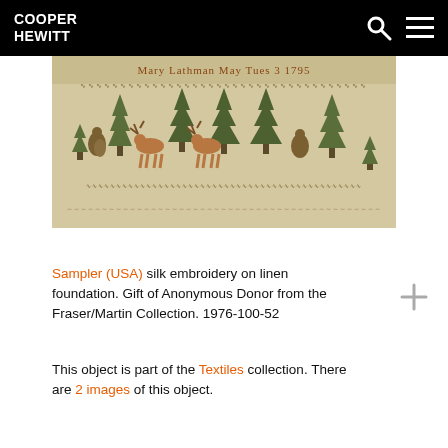COOPER HEWITT
[Figure (photo): A needlework sampler with text 'Mary Lathman May Tues 3 1795' at top, decorative borders, and embroidered trees and deer/animals on linen fabric.]
Sampler (USA) silk embroidery on linen foundation. Gift of Anonymous Donor from the Fraser/Martin Collection. 1976-100-52
This object is part of the Textiles collection. There are 2 images of this object.